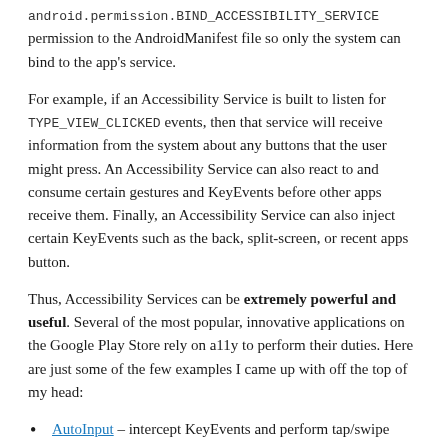android.permission.BIND_ACCESSIBILITY_SERVICE permission to the AndroidManifest file so only the system can bind to the app's service.
For example, if an Accessibility Service is built to listen for TYPE_VIEW_CLICKED events, then that service will receive information from the system about any buttons that the user might press. An Accessibility Service can also react to and consume certain gestures and KeyEvents before other apps receive them. Finally, an Accessibility Service can also inject certain KeyEvents such as the back, split-screen, or recent apps button.
Thus, Accessibility Services can be extremely powerful and useful. Several of the most popular, innovative applications on the Google Play Store rely on a11y to perform their duties. Here are just some of the few examples I came up with off the top of my head:
AutoInput – intercept KeyEvents and perform tap/swipe gestures